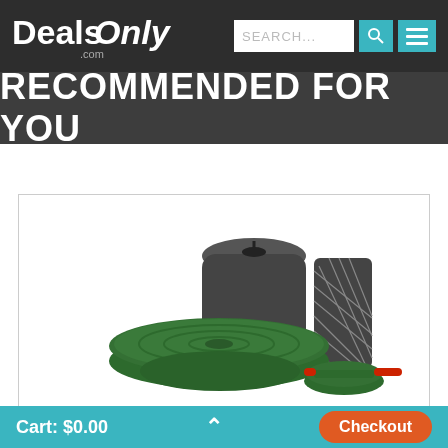[Figure (logo): DealsOnly.com logo in white text on dark background]
RECOMMENDED FOR YOU
[Figure (photo): Gold panning kit with green pans, mesh sieve, black bag, and a small classifier, displayed on white background]
Cart: $0.00   ^   Checkout